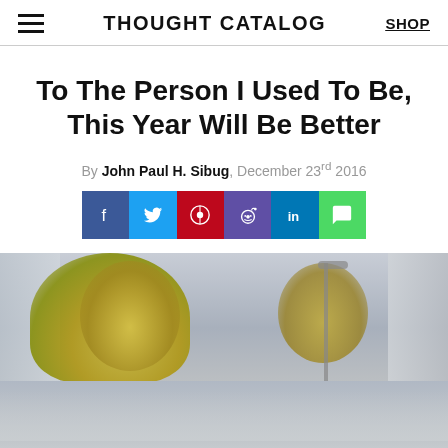THOUGHT CATALOG | SHOP
To The Person I Used To Be, This Year Will Be Better
By John Paul H. Sibug, December 23rd 2016
[Figure (infographic): Social share buttons: Facebook, Twitter, Pinterest, Reddit, LinkedIn, Message]
[Figure (photo): Blurry urban street scene with autumn trees and city buildings]